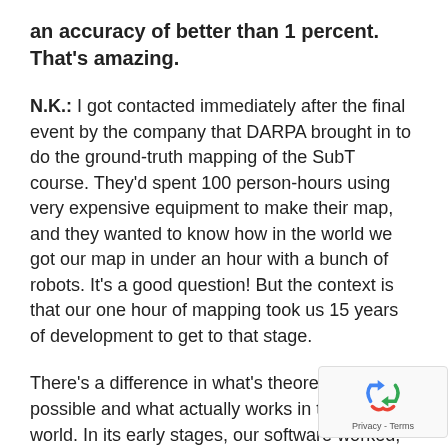an accuracy of better than 1 percent. That's amazing.
N.K.: I got contacted immediately after the final event by the company that DARPA brought in to do the ground-truth mapping of the SubT course. They'd spent 100 person-hours using very expensive equipment to make their map, and they wanted to know how in the world we got our map in under an hour with a bunch of robots. It's a good question! But the context is that our one hour of mapping took us 15 years of development to get to that stage.
There's a difference in what's theoretically possible and what actually works in the real world. In its early stages, our software worked, in that it hit all of the theoretical milestones it was supposed to. But the...